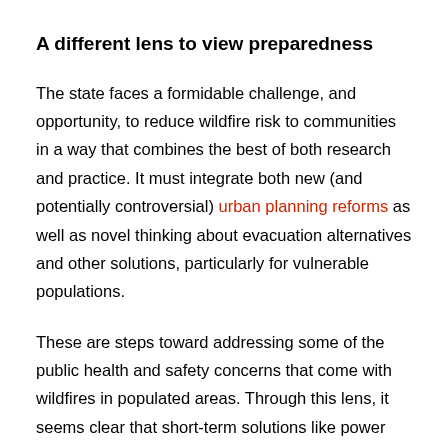A different lens to view preparedness
The state faces a formidable challenge, and opportunity, to reduce wildfire risk to communities in a way that combines the best of both research and practice. It must integrate both new (and potentially controversial) urban planning reforms as well as novel thinking about evacuation alternatives and other solutions, particularly for vulnerable populations.
These are steps toward addressing some of the public health and safety concerns that come with wildfires in populated areas. Through this lens, it seems clear that short-term solutions like power shut-offs that may lessen a particular type of ignition come with their own